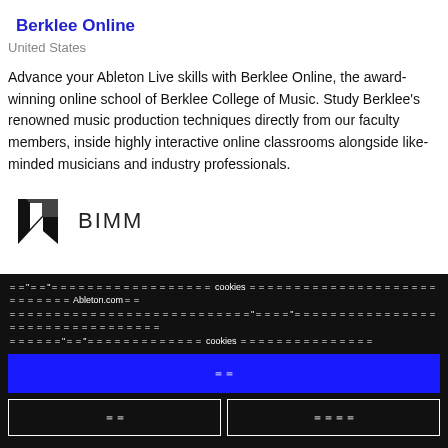Berklee Online
United States
Advance your Ableton Live skills with Berklee Online, the award-winning online school of Berklee College of Music. Study Berklee's renowned music production techniques directly from our faculty members, inside highly interactive online classrooms alongside like-minded musicians and industry professionals.
[Figure (logo): BIMM logo — angular black arrow/play-button shape]
BIMM
Cookie consent overlay with garbled/encoded text mentioning cookies and Ableton.com, with Accept, Decline, and Settings buttons